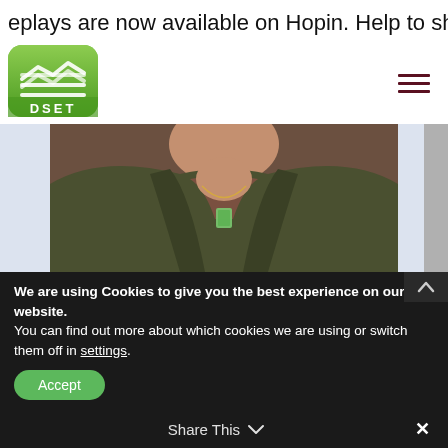eplays are now available on Hopin. Help to sha
[Figure (logo): DSET logo - green rounded square with wave/chevron lines and DSET text]
[Figure (photo): Close-up photo of a person wearing a dark olive jacket and a green jade pendant necklace]
We are using Cookies to give you the best experience on our website.
You can find out more about which cookies we are using or switch them off in settings.
Accept
Share This  ✓
✕